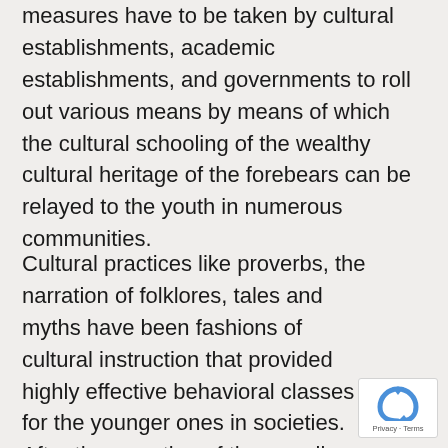measures have to be taken by cultural establishments, academic establishments, and governments to roll out various means by means of which the cultural schooling of the wealthy cultural heritage of the forebears can be relayed to the youth in numerous communities.
Cultural practices like proverbs, the narration of folklores, tales and myths have been fashions of cultural instruction that provided highly effective behavioral classes for the younger ones in societies. After the narration of the morally charged proverb or story, the elders who served because the instructors requested the youths numerous questions that helped them to motive and glean the import of